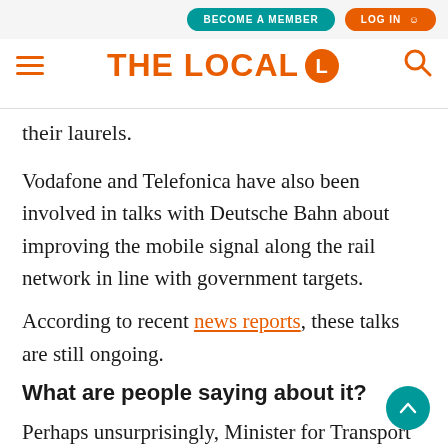THE LOCAL
their laurels.
Vodafone and Telefonica have also been involved in talks with Deutsche Bahn about improving the mobile signal along the rail network in line with government targets.
According to recent news reports, these talks are still ongoing.
What are people saying about it?
Perhaps unsurprisingly, Minister for Transport